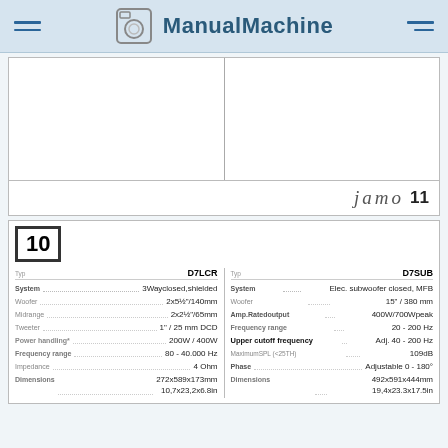ManualMachine
[Figure (illustration): Two-column whitespace area for product images]
Jamo 11
[Figure (illustration): Figure 10 box label]
| Type | D7LCR | Type | D7SUB |
| --- | --- | --- | --- |
| System | 3Way closed, shielded | System | Elec. subwoofer closed, MFB |
| Woofer | 2x5½"/140mm | Woofer | 15" / 380 mm |
| Midrange | 2x2½"/65mm | Amp.Ratedoutput | 400W/700Wpeak |
| Tweeter | 1" / 25 mm DCD | Frequency range | 20 - 200 Hz |
| Power handling* | 200W / 400W | Upper cutoff frequency | Adj. 40 - 200 Hz |
| Frequency range | 80 - 40.000 Hz | MaximumSPL (≤25TH) | 109dB |
| Impedance | 4 Ohm | Phase | Adjustable 0 - 180° |
| Dimensions | 272x589x173mm / 10,7x23,2x6.8in | Dimensions | 492x591x444mm / 19,4x23.3x17.5in |